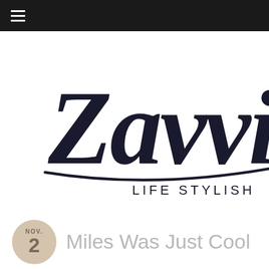Navigation bar with hamburger menu
[Figure (logo): Zavvi Life Stylish script logo in dark navy/black, partially cropped on the right]
Miles Was Just Cool
NOV. 2